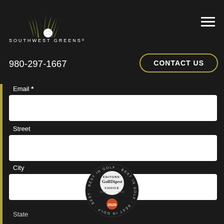[Figure (logo): Southwest Greens Charlotte Golf & Grass logo with grass/golf ball illustration]
980-297-1667
CONTACT US
Email *
Street
City
State
[Figure (logo): Golf Digest Editors' Choice Best in Golf 2020 badge]